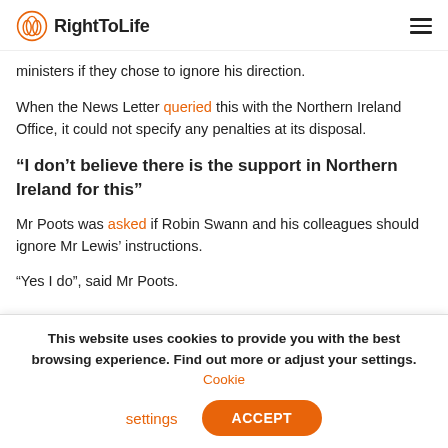RightToLife
ministers if they chose to ignore his direction.
When the News Letter queried this with the Northern Ireland Office, it could not specify any penalties at its disposal.
“I don’t believe there is the support in Northern Ireland for this”
Mr Poots was asked if Robin Swann and his colleagues should ignore Mr Lewis’ instructions.
“Yes I do”, said Mr Poots.
This website uses cookies to provide you with the best browsing experience. Find out more or adjust your settings. Cookie settings ACCEPT